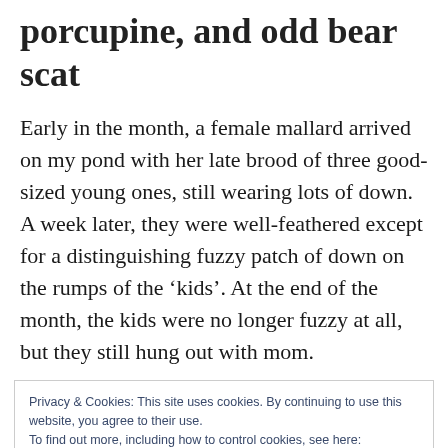porcupine, and odd bear scat
Early in the month, a female mallard arrived on my pond with her late brood of three good-sized young ones, still wearing lots of down. A week later, they were well-feathered except for a distinguishing fuzzy patch of down on the rumps of the ‘kids’. At the end of the month, the kids were no longer fuzzy at all, but they still hung out with mom.
Privacy & Cookies: This site uses cookies. By continuing to use this website, you agree to their use.
To find out more, including how to control cookies, see here:
Cookie Policy
Close and accept
Dolly Varden are recorded to be resident in the